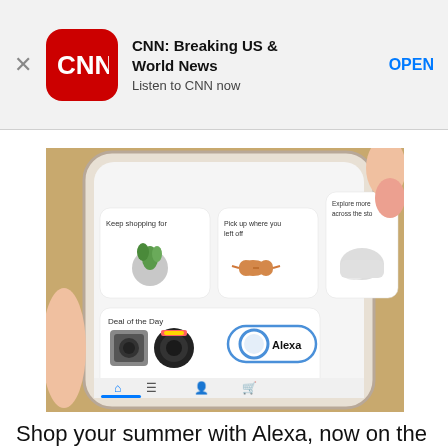[Figure (screenshot): CNN app banner ad with close X button, red CNN logo icon, bold title 'CNN: Breaking US & World News', subtitle 'Listen to CNN now', and blue 'OPEN' button on light gray background]
[Figure (photo): Hand holding a smartphone showing the Amazon shopping app with sections: 'Keep shopping for' (plant in glass terrarium), 'Pick up where you left off' (orange sunglasses), 'Explore more across the store' (white sneakers), 'Deal of the Day' (Polaroid cameras), and Alexa button at bottom navigation bar]
Shop your summer with Alexa, now on the